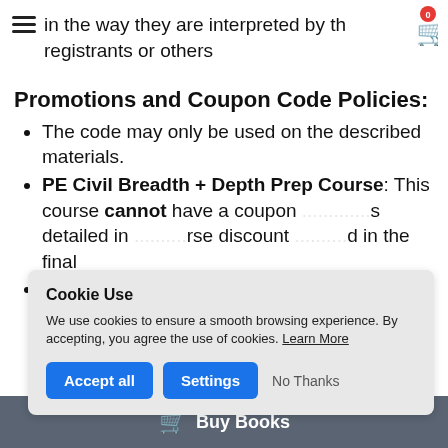in the way they are interpreted by the registrants or others
Promotions and Coupon Code Policies:
The code may only be used on the described materials.
PE Civil Breadth + Depth Prep Course: This course cannot have a coupon ... as detailed in ... rse discount ... d in the final
ode may only be used for intended purposes.
Cookie Use
We use cookies to ensure a smooth browsing experience. By accepting, you agree the use of cookies. Learn More
Buy Books